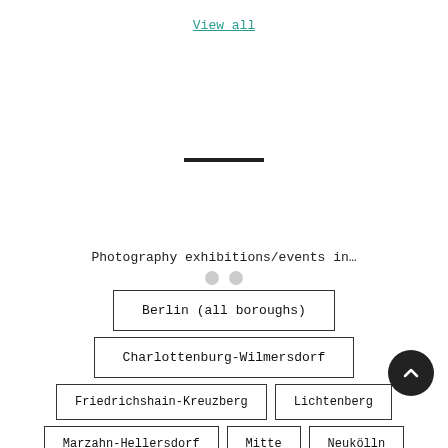View all
[Figure (other): Two small grey circles (pagination dots) and a short horizontal black divider bar]
Photography exhibitions/events in…
Berlin (all boroughs)
Charlottenburg-Wilmersdorf
Friedrichshain-Kreuzberg
Lichtenberg
Marzahn-Hellersdorf
Mitte
Neukölln